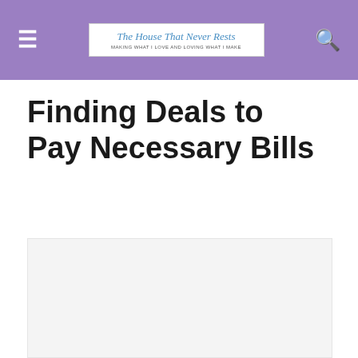The House That Never Rests — MAKING WHAT I LOVE AND LOVING WHAT I MAKE
Finding Deals to Pay Necessary Bills
[Figure (photo): Image placeholder with light gray background, presumably a featured image for the article about finding deals to pay necessary bills]